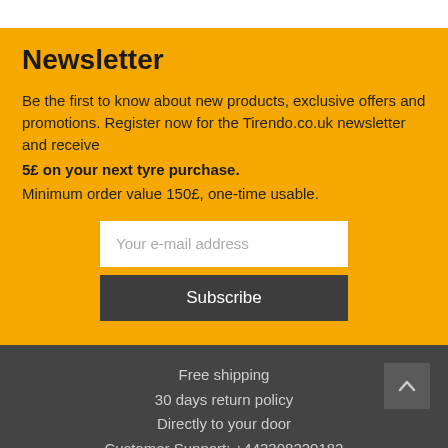Newsletter
Be the first to know about new products, exclusive offers and promotions. Register now for the Tirendo.co.uk newsletter and receive 5£ on your next tyre purchase. Minimum order value 150£, one-time usable.
Your e-mail address
Subscribe
Free shipping
30 days return policy
Directly to your door
Customer Support: +443308220182
Popular manufacturers   Popular tyre models